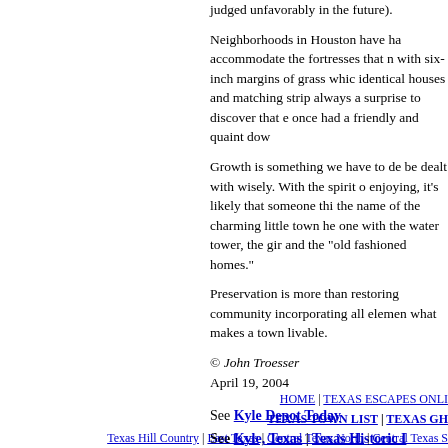judged unfavorably in the future).
Neighborhoods in Houston have ha... accommodate the fortresses that n... with six-inch margins of grass whic... identical houses and matching strip... always a surprise to discover that e... once had a friendly and quaint dow...
Growth is something we have to de... be dealt with wisely. With the spirit o... enjoying, it's likely that someone thi... the name of the charming little town... he one with the water tower, the gir... and the "old fashioned homes."
Preservation is more than restoring... community incorporating all elemen... what makes a town livable.
© John Troesser
April 19, 2004
See Kyle Depot Today
See Kyle, Texas | Texas Historic ...
HOME | TEXAS ESCAPES ONLI... TEXAS TOWN LIST | TEXAS GH... Texas Hill Country | East Texas | Central Texas North | Central Texas S...